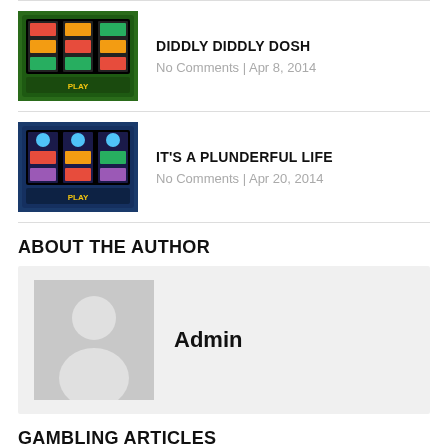[Figure (screenshot): Thumbnail of slot machine game for Diddly Diddly Dosh]
DIDDLY DIDDLY DOSH
No Comments | Apr 8, 2014
[Figure (screenshot): Thumbnail of slot machine game for It's A Plunderful Life]
IT'S A PLUNDERFUL LIFE
No Comments | Apr 20, 2014
ABOUT THE AUTHOR
[Figure (photo): Grey placeholder avatar silhouette image]
Admin
GAMBLING ARTICLES
Is Online Gambling Legal In The UK?